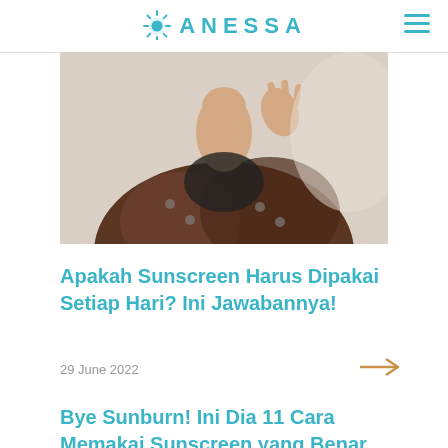ANESSA
[Figure (photo): Person wearing a brown corduroy jacket touching their face, partial view showing neck, chin and raised hand with fingers together against a light background.]
Apakah Sunscreen Harus Dipakai Setiap Hari? Ini Jawabannya!
29 June 2022
Bye Sunburn! Ini Dia 11 Cara Memakai Sunscreen yang Benar